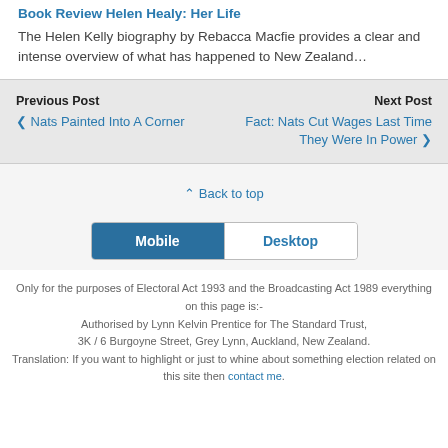Book Review Helen Healy: Her Life
The Helen Kelly biography by Rebacca Macfie provides a clear and intense overview of what has happened to New Zealand…
Previous Post
‹ Nats Painted Into A Corner

Next Post
Fact: Nats Cut Wages Last Time They Were In Power ›
⌃ Back to top
Mobile | Desktop
Only for the purposes of Electoral Act 1993 and the Broadcasting Act 1989 everything on this page is:-
Authorised by Lynn Kelvin Prentice for The Standard Trust,
3K / 6 Burgoyne Street, Grey Lynn, Auckland, New Zealand.
Translation: If you want to highlight or just to whine about something election related on this site then contact me.